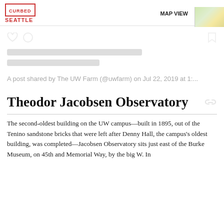CURBED SEATTLE
[Figure (map): Small map thumbnail in upper right corner showing MAP VIEW label]
[Figure (screenshot): Instagram post placeholder with heart, comment, bookmark icons and two loading skeleton bars]
A post shared by The UW Farm (@uwfarm) on Jul 22, 2019 at 1:...
Theodor Jacobsen Observatory
The second-oldest building on the UW campus—built in 1895, out of the Tenino sandstone bricks that were left after Denny Hall, the campus's oldest building, was completed—Jacobsen Observatory sits just east of the Burke Museum, on 45th and Memorial Way, by the big W. In